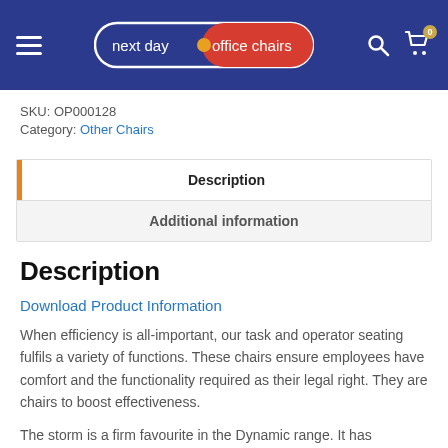next day office chairs
SKU: OP000128
Category: Other Chairs
Description
Additional information
Description
Download Product Information
When efficiency is all-important, our task and operator seating fulfils a variety of functions. These chairs ensure employees have comfort and the functionality required as their legal right. They are chairs to boost effectiveness.
The storm is a firm favourite in the Dynamic range. It has